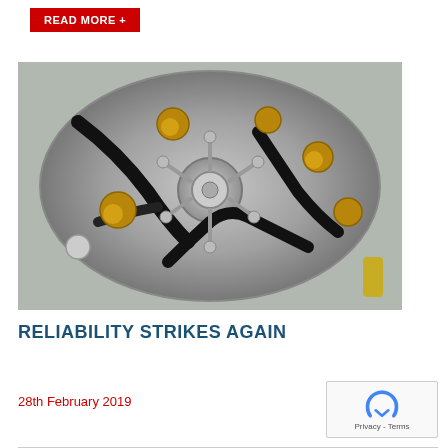READ MORE +
[Figure (photo): Close-up photograph of a radial aircraft engine front view showing black hydraulic hoses, brass fittings, aluminium casing, and multiple mechanical connections arranged in a circular pattern.]
RELIABILITY STRIKES AGAIN
28th February 2019